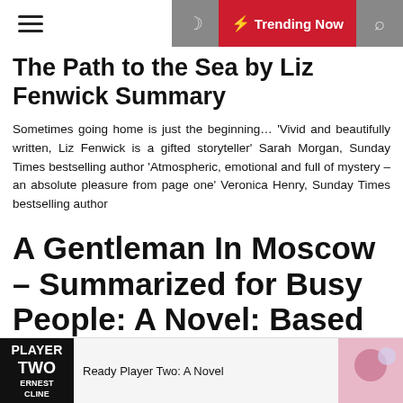☰  🌙  ⚡ Trending Now  🔍
The Path to the Sea by Liz Fenwick Summary
Sometimes going home is just the beginning… 'Vivid and beautifully written, Liz Fenwick is a gifted storyteller' Sarah Morgan, Sunday Times bestselling author 'Atmospheric, emotional and full of mystery – an absolute pleasure from page one' Veronica Henry, Sunday Times bestselling author
A Gentleman In Moscow – Summarized for Busy People: A Novel: Based on the Book by Amor Towles
Author: Goldmine Reads
Ready Player Two: A Novel